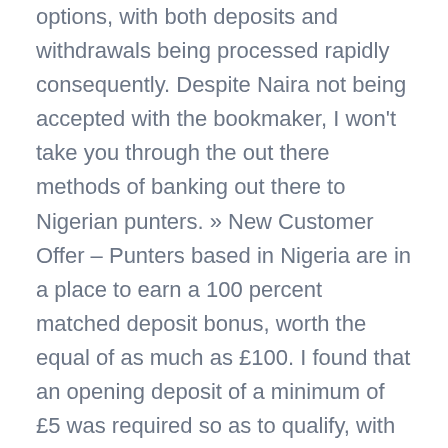options, with both deposits and withdrawals being processed rapidly consequently. Despite Naira not being accepted with the bookmaker, I won't take you through the out there methods of banking out there to Nigerian punters. » New Customer Offer – Punters based in Nigeria are in a place to earn a 100 percent matched deposit bonus, worth the equal of as much as £100. I found that an opening deposit of a minimum of £5 was required so as to qualify, with guess credit being available shortly after assembly the phrases and situations. NetBet, Bet365 also permits its customers to guess on digital sports activities.
Other co-owners include her brother John who is also a chief govt, Peter Coates who's their father. The similar applies when you need to wager on any other sport